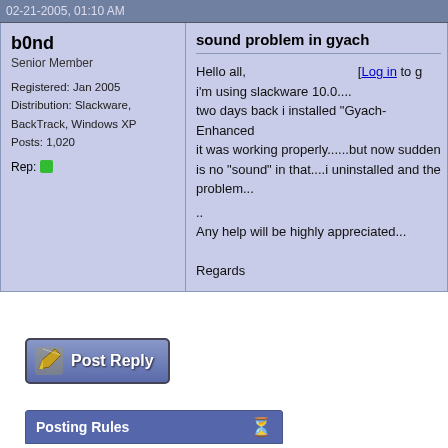02-21-2005, 01:10 AM
b0nd
Senior Member

Registered: Jan 2005
Distribution: Slackware, BackTrack, Windows XP
Posts: 1,020

Rep:
sound problem in gyach
Hello all,
i'm using slackware 10.0....
two days back i installed "Gyach-Enhanced" it was working properly......but now suddenly there is no "sound" in that....i uninstalled and the same problem...
..
Any help will be highly appreciated...

Regards
[Figure (other): Post Reply button with pencil/write icon]
Posting Rules